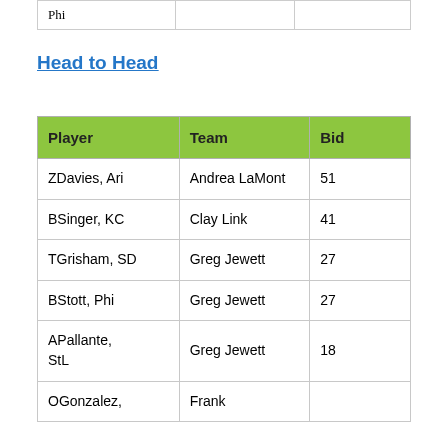| Phi |  |  |
Head to Head
| Player | Team | Bid |
| --- | --- | --- |
| ZDavies, Ari | Andrea LaMont | 51 |
| BSinger, KC | Clay Link | 41 |
| TGrisham, SD | Greg Jewett | 27 |
| BStott, Phi | Greg Jewett | 27 |
| APallante, StL | Greg Jewett | 18 |
| OGonzalez, | Frank |  |